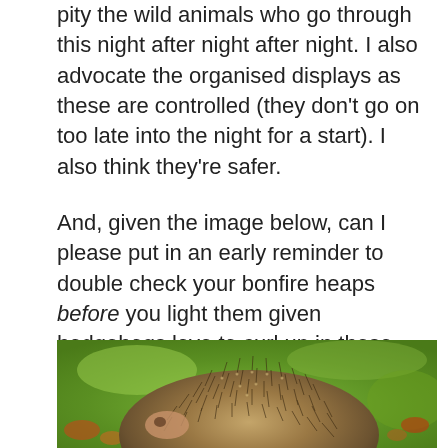pity the wild animals who go through this night after night after night. I also advocate the organised displays as these are controlled (they don't go on too late into the night for a start). I also think they're safer.
And, given the image below, can I please put in an early reminder to double check your bonfire heaps before you light them given hedgehogs love to curl up in these.
[Figure (photo): Close-up photograph of a hedgehog with brown and cream spines, seen from above/side angle, against a blurred green grass background with some red/orange leaf debris visible.]